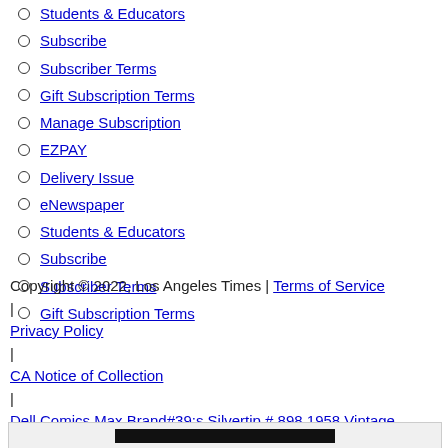Students & Educators
Subscribe
Subscriber Terms
Gift Subscription Terms
Manage Subscription
EZPAY
Delivery Issue
eNewspaper
Students & Educators
Subscribe
Subscriber Terms
Gift Subscription Terms
Copyright © 2022, Los Angeles Times | Terms of Service | Privacy Policy | CA Notice of Collection | Dell Comics Max Brand#39;s Silvertip # 898 1958 Vintage Western
[Figure (other): Advertisement banner with black redacted bar]